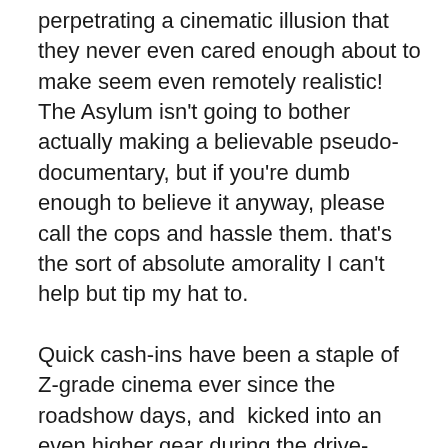perpetrating a cinematic illusion that they never even cared enough about to make seem even remotely realistic! The Asylum isn't going to bother actually making a believable pseudo-documentary, but if you're dumb enough to believe it anyway, please call the cops and hassle them. that's the sort of absolute amorality I can't help but tip my hat to.

Quick cash-ins have been a staple of Z-grade cinema ever since the roadshow days, and  kicked into an even higher gear during the drive-in/grindhouse era, but this sets a new benchmark for pure chutzpah, in my view, and shows that today's low-budget moviemakers haven't lost sight of the art of wearing a gimmick out well past the breaking point. While I can't recommend that anyone actually waste their time watching 8213 : Gacy House, I do heartily recommend calling the police and providing bogus leads...